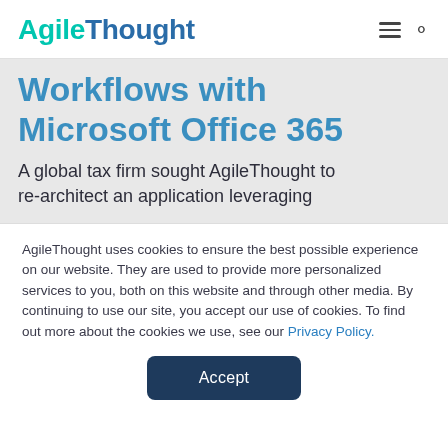AgileThought
Workflows with Microsoft Office 365
A global tax firm sought AgileThought to re-architect an application leveraging
AgileThought uses cookies to ensure the best possible experience on our website. They are used to provide more personalized services to you, both on this website and through other media. By continuing to use our site, you accept our use of cookies. To find out more about the cookies we use, see our Privacy Policy.
Accept